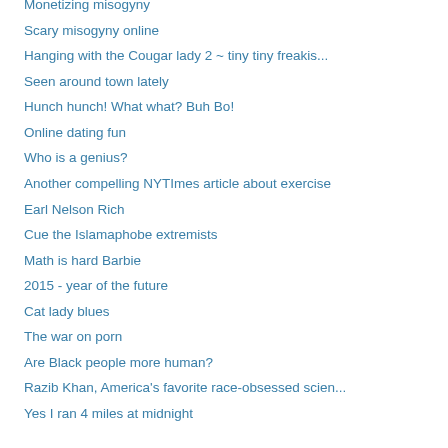Monetizing misogyny
Scary misogyny online
Hanging with the Cougar lady 2 ~ tiny tiny freakis...
Seen around town lately
Hunch hunch! What what? Buh Bo!
Online dating fun
Who is a genius?
Another compelling NYTImes article about exercise
Earl Nelson Rich
Cue the Islamaphobe extremists
Math is hard Barbie
2015 - year of the future
Cat lady blues
The war on porn
Are Black people more human?
Razib Khan, America's favorite race-obsessed scien...
Yes I ran 4 miles at midnight